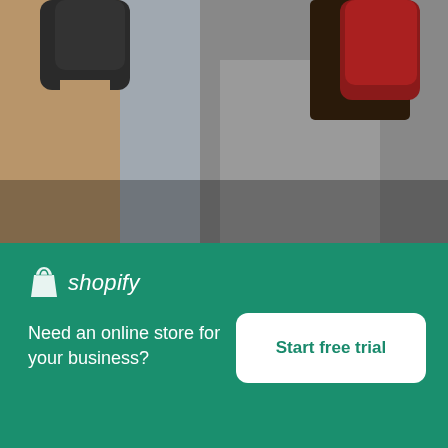[Figure (photo): Two people boxing/sparring in a gym, cropped at mid-body level showing boxing gloves raised, against a grey background]
Punching Workout
High resolution download ↓
[Figure (photo): Partially visible photo of a person, only top of head visible, light background]
[Figure (logo): Shopify logo with shopping bag icon and italic text 'shopify']
Need an online store for your business?
Start free trial